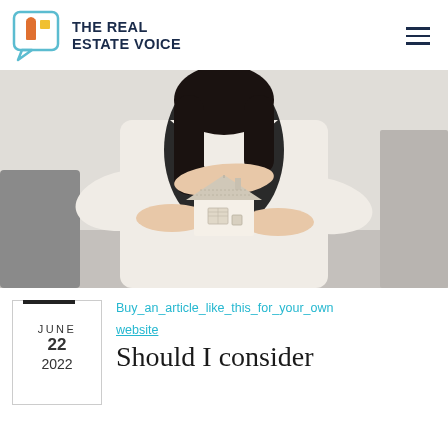THE REAL ESTATE VOICE
[Figure (photo): Woman in white blazer holding a small wooden house model protectively with both hands, shot from the torso down, light grey background.]
Buy an article like this for your own website
JUNE 22 2022
Should I consider